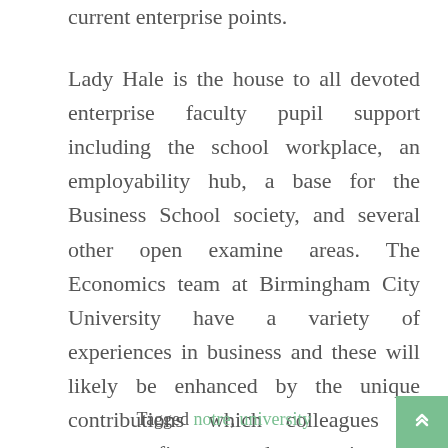current enterprise points.
Lady Hale is the house to all devoted enterprise faculty pupil support including the school workplace, an employability hub, a base for the Business School society, and several other open examine areas. The Economics team at Birmingham City University have a variety of experiences in business and these will likely be enhanced by the unique contributions which colleagues in strategy, finance and enterprise can offer.
Tagged notre, university